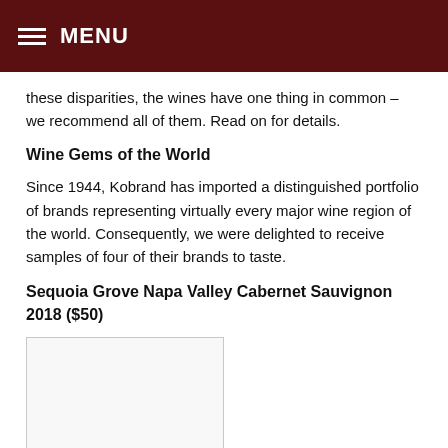MENU
these disparities, the wines have one thing in common – we recommend all of them. Read on for details.
Wine Gems of the World
Since 1944, Kobrand has imported a distinguished portfolio of brands representing virtually every major wine region of the world. Consequently, we were delighted to receive samples of four of their brands to taste.
Sequoia Grove Napa Valley Cabernet Sauvignon 2018 ($50)
[Figure (photo): Image placeholder for Sequoia Grove Napa Valley Cabernet Sauvignon 2018 wine bottle or label photo]